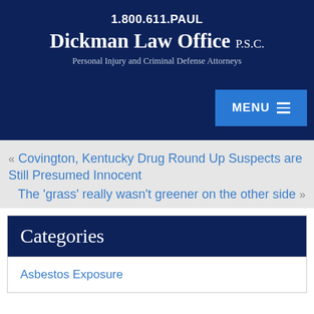1.800.611.PAUL
Dickman Law Office P.S.C.
Personal Injury and Criminal Defense Attorneys
MENU
« Covington, Kentucky Drug Round Up Suspects are Still Presumed Innocent
The ‘grass’ really wasn’t greener on the other side »
Categories
Asbestos Exposure